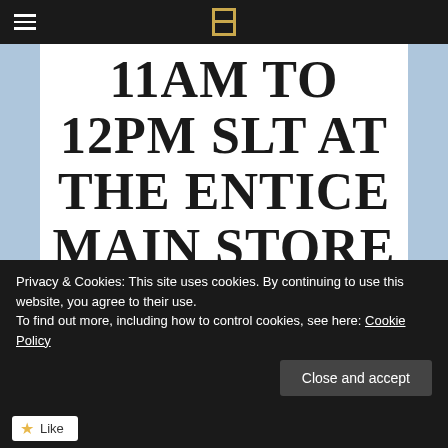Navigation bar with hamburger menu and Entice logo
11AM TO 12PM SLT AT THE ENTICE MAIN STORE LOCATION.
SHARE THIS.
Privacy & Cookies: This site uses cookies. By continuing to use this website, you agree to their use.
To find out more, including how to control cookies, see here: Cookie Policy
Close and accept
Like